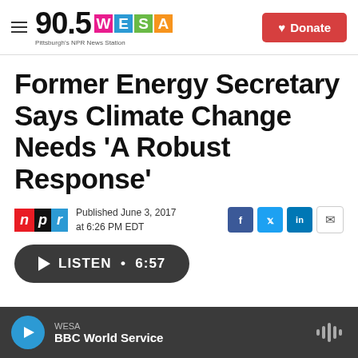90.5 WESA — Pittsburgh's NPR News Station | Donate
Former Energy Secretary Says Climate Change Needs 'A Robust Response'
Published June 3, 2017 at 6:26 PM EDT
LISTEN • 6:57
WESA — BBC World Service